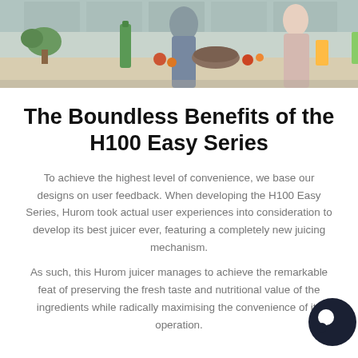[Figure (photo): Kitchen scene with two people preparing food and juices, green vegetables and fruits on counter, glass bottles with green juice]
The Boundless Benefits of the H100 Easy Series
To achieve the highest level of convenience, we base our designs on user feedback. When developing the H100 Easy Series, Hurom took actual user experiences into consideration to develop its best juicer ever, featuring a completely new juicing mechanism.
As such, this Hurom juicer manages to achieve the remarkable feat of preserving the fresh taste and nutritional value of the ingredients while radically maximising the convenience of its operation.